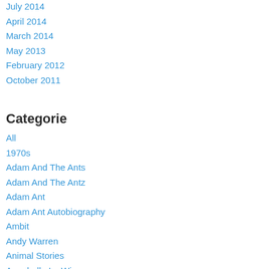July 2014
April 2014
March 2014
May 2013
February 2012
October 2011
Categorie
All
1970s
Adam And The Ants
Adam And The Antz
Adam Ant
Adam Ant Autobiography
Ambit
Andy Warren
Animal Stories
Annabella Lu Win
An Outsider Anthology
Antinomies